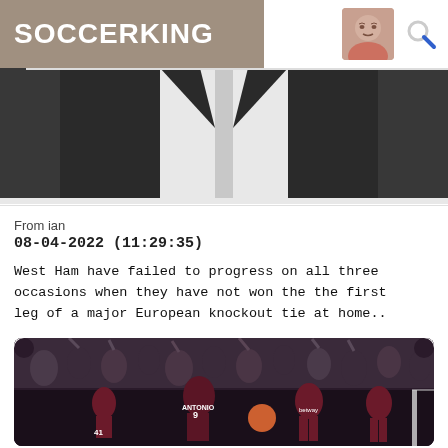SOCCERKING
[Figure (photo): Partial photo of a person in a suit, cropped, shown from chest up against dark background]
From ian
08-04-2022 (11:29:35)
West Ham have failed to progress on all three occasions when they have not won the the first leg of a major European knockout tie at home..
[Figure (photo): West Ham United players celebrating a goal, including player with number 9 ANTONIO jersey, crowd in background, at a stadium]